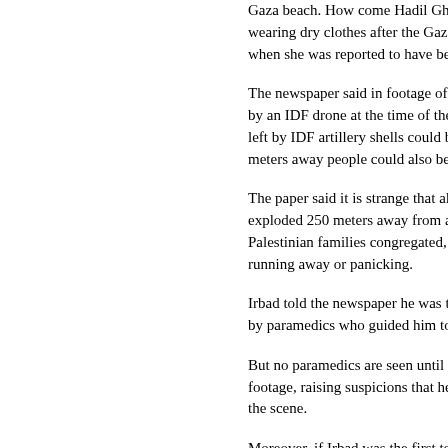Gaza beach. How come Hadil Ghalia was wearing dry clothes after the Gaza beach when she was reported to have been
The newspaper said in footage of the by an IDF drone at the time of the atta left by IDF artillery shells could be see meters away people could also be see
The paper said it is strange that althou exploded 250 meters away from a bea Palestinian families congregated, no c running away or panicking.
Irbad told the newspaper he was told by paramedics who guided him to the
But no paramedics are seen until later footage, raising suspicions that he wa the scene.
Moreover, if Irbad was the first to get t why were most bodies covered by she there first to cover the bodies? The ne asked."